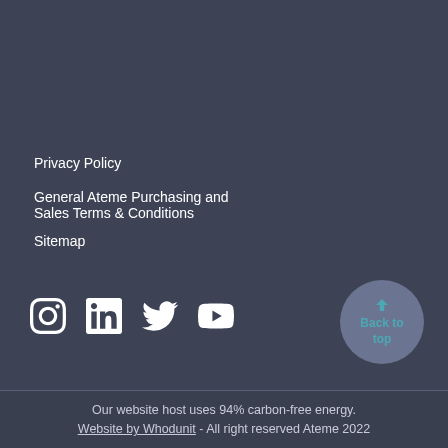Privacy Policy
General Ateme Purchasing and Sales Terms & Conditions
Sitemap
[Figure (other): Social media icons: Instagram, LinkedIn, Twitter, YouTube]
[Figure (other): Back to top circular button with upward arrow]
Our website host uses 94% carbon-free energy. Website by Whodunit - All right reserved Ateme 2022